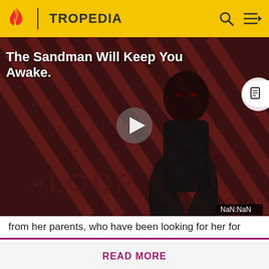TROPEDIA
[Figure (screenshot): Video thumbnail for 'The Sandman Will Keep You Awake' showing a dark figure against red/black diagonal stripes background, with a play button and 'THE LOOP' text overlay. Timer shows NaN:NaN.]
from her parents, who have been looking for her for years. Lorne says something about "those monsters"
Before making a single edit, Tropedia EXPECTS our site policy and manual of style to be followed. Failure to do so may
READ MORE